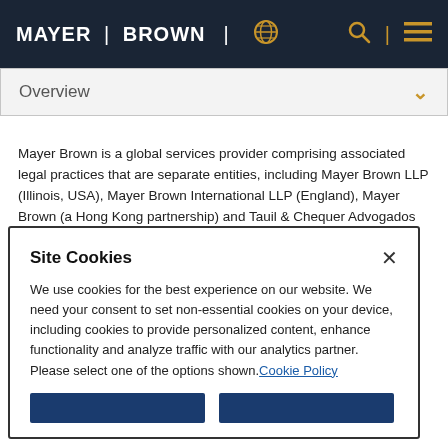MAYER | BROWN
Overview
Mayer Brown is a global services provider comprising associated legal practices that are separate entities, including Mayer Brown LLP (Illinois, USA), Mayer Brown International LLP (England), Mayer Brown (a Hong Kong partnership) and Tauil & Chequer Advogados (a Brazilian law partnership) (collectively the “Mayer Brown Practices”) and non-legal service providers, which provide consultancy services (the “Mayer Brown
Site Cookies
We use cookies for the best experience on our website. We need your consent to set non-essential cookies on your device, including cookies to provide personalized content, enhance functionality and analyze traffic with our analytics partner. Please select one of the options shown. Cookie Policy